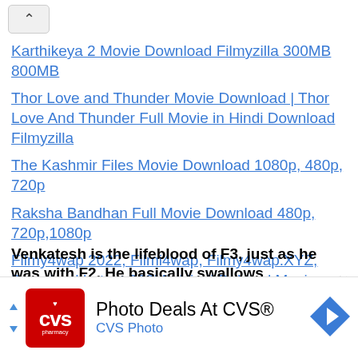Karthikeya 2 Movie Download Filmyzilla 300MB 800MB
Thor Love and Thunder Movie Download | Thor Love And Thunder Full Movie in Hindi Download Filmyzilla
The Kashmir Files Movie Download 1080p, 480p, 720p
Raksha Bandhan Full Movie Download 480p, 720p,1080p
Filmy4wap 2022, Filmi4wap, Filmy4wap.XYZ, Download Latest 300Mb Hindi Dubbed Movies Free 480q 720p, 1080, Hd
Venkatesh is the lifeblood of F3, just as he was with F2. He basically swallows
[Figure (infographic): CVS Pharmacy advertisement banner: red CVS logo on left, 'Photo Deals At CVS®' headline, 'CVS Photo' subtext in blue, blue navigation arrow icon on right]